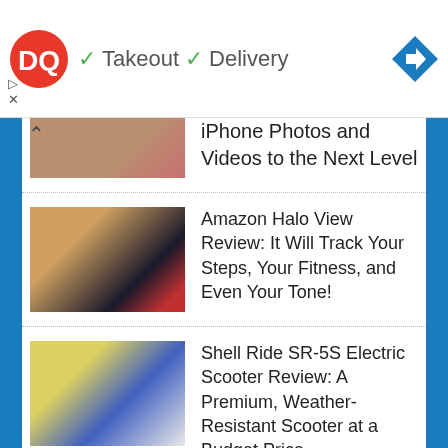[Figure (screenshot): Dairy Queen advertisement banner with DQ logo, checkmarks next to Takeout and Delivery, and a blue navigation arrow icon]
iPhone Photos and Videos to the Next Level
Amazon Halo View Review: It Will Track Your Steps, Your Fitness, and Even Your Tone!
Shell Ride SR-5S Electric Scooter Review: A Premium, Weather-Resistant Scooter at a Budget Price
Zeus Arc GTS Hub Kit Review: No More Excuses with This...